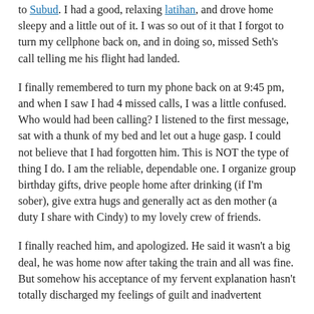to Subud. I had a good, relaxing latihan, and drove home sleepy and a little out of it. I was so out of it that I forgot to turn my cellphone back on, and in doing so, missed Seth's call telling me his flight had landed.
I finally remembered to turn my phone back on at 9:45 pm, and when I saw I had 4 missed calls, I was a little confused. Who would had been calling? I listened to the first message, sat with a thunk of my bed and let out a huge gasp. I could not believe that I had forgotten him. This is NOT the type of thing I do. I am the reliable, dependable one. I organize group birthday gifts, drive people home after drinking (if I'm sober), give extra hugs and generally act as den mother (a duty I share with Cindy) to my lovely crew of friends.
I finally reached him, and apologized. He said it wasn't a big deal, he was home now after taking the train and all was fine. But somehow his acceptance of my fervent explanation hasn't totally discharged my feelings of guilt and inadvertent